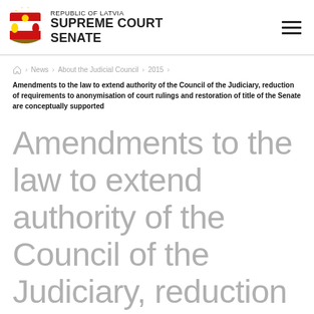REPUBLIC OF LATVIA SUPREME COURT SENATE
Home > News > About the Judicial Council > 2015 >
Amendments to the law to extend authority of the Council of the Judiciary, reduction of requirements to anonymisation of court rulings and restoration of title of the Senate are conceptually supported
Amendments to the law to extend authority of the Council of the Judiciary, reduction of requirements to anonymisation of court rulings and restoration of title